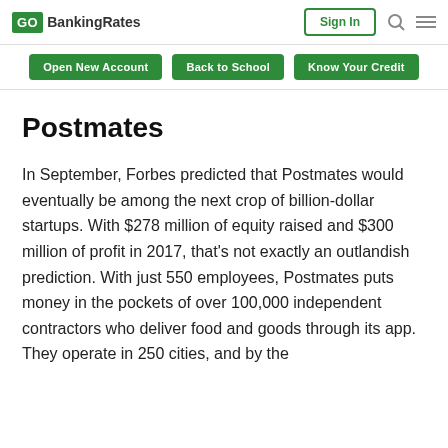GOBankingRates | Sign In
Open New Account | Back to School | Know Your Credit
Postmates
In September, Forbes predicted that Postmates would eventually be among the next crop of billion-dollar startups. With $278 million of equity raised and $300 million of profit in 2017, that's not exactly an outlandish prediction. With just 550 employees, Postmates puts money in the pockets of over 100,000 independent contractors who deliver food and goods through its app. They operate in 250 cities, and by the